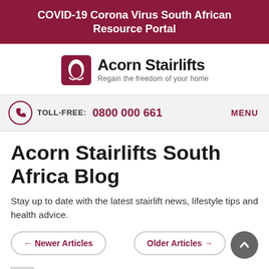COVID-19 Corona Virus South African Resource Portal
[Figure (logo): Acorn Stairlifts logo with text 'Regain the freedom of your home']
TOLL-FREE: 0800 000 661   MENU
Acorn Stairlifts South Africa Blog
Stay up to date with the latest stairlift news, lifestyle tips and health advice.
← Newer Articles   Older Articles →
Here's the Best Guide to Reviewing Stairlifts Reviews